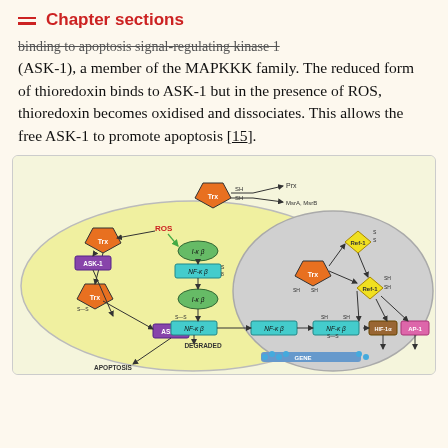Chapter sections
binding to apoptosis signal-regulating kinase 1 (ASK-1), a member of the MAPKKK family. The reduced form of thioredoxin binds to ASK-1 but in the presence of ROS, thioredoxin becomes oxidised and dissociates. This allows the free ASK-1 to promote apoptosis [15].
[Figure (schematic): Biological pathway diagram showing thioredoxin (Trx) signaling in cytoplasm and nucleus. In the cytoplasm (yellow background): Trx interacts with ROS, ASK-1, I-κB, NF-κB, leading to apoptosis or degraded pathway. In the nucleus (gray circle): Trx reduces Ref-1, which activates NF-κB, HIF-1α, AP-1 transcription factors at GENE. Also shows Trx with SH groups donating to Prx, MsrA, MsrB.]